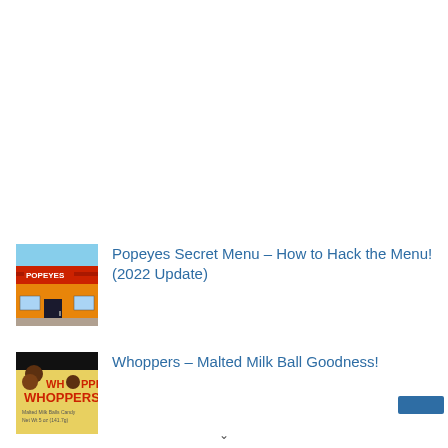[Figure (photo): Thumbnail photo of Popeyes restaurant exterior with red awning and orange building]
Popeyes Secret Menu – How to Hack the Menu! (2022 Update)
[Figure (photo): Thumbnail photo of Whoppers Malted Milk Balls candy box packaging]
Whoppers – Malted Milk Ball Goodness!